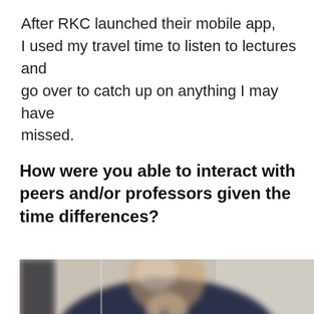After RKC launched their mobile app, I used my travel time to listen to lectures and go over to catch up on anything I may have missed.
How were you able to interact with peers and/or professors given the time differences?
[Figure (photo): Blurred photo of a man in a dark suit and tie, shown from the shoulders up, slightly out of focus, against a light gray background.]